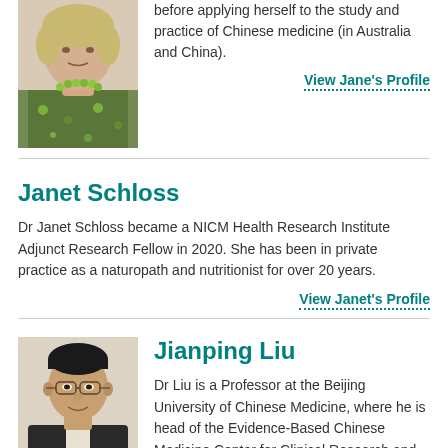[Figure (photo): Photo of Jane, a woman with blonde hair wearing a floral top and green bead necklace]
before applying herself to the study and practice of Chinese medicine (in Australia and China).
View Jane's Profile
Janet Schloss
Dr Janet Schloss became a NICM Health Research Institute Adjunct Research Fellow in 2020. She has been in private practice as a naturopath and nutritionist for over 20 years.
View Janet's Profile
[Figure (photo): Photo of Dr Jianping Liu, a middle-aged Asian man wearing glasses]
Jianping Liu
Dr Liu is a Professor at the Beijing University of Chinese Medicine, where he is head of the Evidence-Based Chinese Medicine Center for Clinical Research and Evaluation and